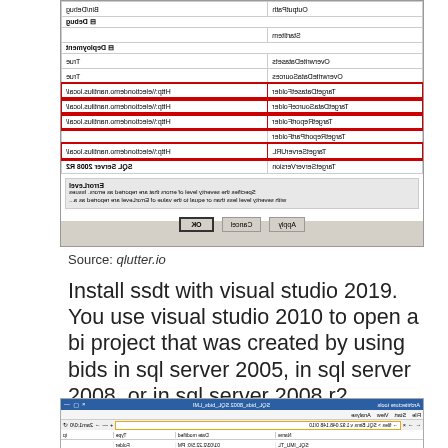[Figure (screenshot): A Visual Studio / SSDT project properties dialog window showing deployment configuration settings including TargetDatasetFolder, TargetDataSourceFolder, TargetReportFolder, TargetReportPartFolder, TargetServerURL with http://\\electiondemo.nantilus.local/ values, and TargetServerVersion SQL Server 2008 R2. Several rows are highlighted with a red border. An ErrorLevel section with description text is shown at the bottom of the dialog, with OK, Cancel, and Apply buttons.]
Source: qlutter.io
Install ssdt with visual studio 2019. You use visual studio 2010 to open a bi project that was created by using bids in sql server 2005, in sql server 2008, or in sql server 2008 r2.
[Figure (screenshot): A Visual Studio 2019 SQL Server Data Tools (SSDT) interface screenshot showing the toolbar with navigation buttons, an address bar highlighted with orange border showing a SQL Server path, and a solution explorer panel on the right with SQL_IMU_TL project items visible including References and Deploy items.]